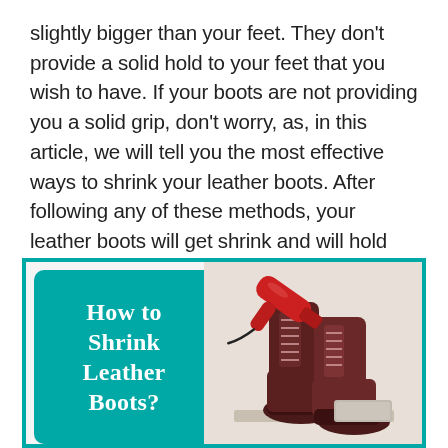slightly bigger than your feet. They don't provide a solid hold to your feet that you wish to have. If your boots are not providing you a solid grip, don't worry, as, in this article, we will tell you the most effective ways to shrink your leather boots. After following any of these methods, your leather boots will get shrink and will hold your feet the way you want.
[Figure (infographic): Infographic with teal border and teal box on the left reading 'How to Shrink Leather Boots?' in white serif font, and on the right a photo of dark brown leather lace-up boots with a red hair dryer.]